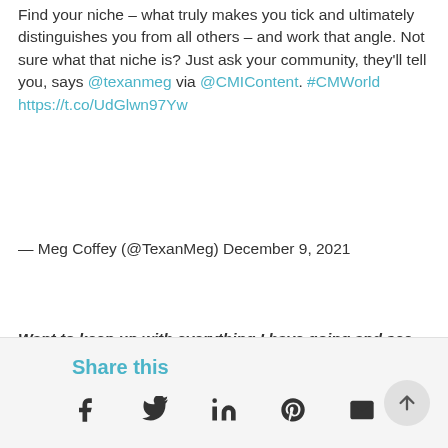Find your niche – what truly makes you tick and ultimately distinguishes you from all others – and work that angle. Not sure what that niche is? Just ask your community, they'll tell you, says @texanmeg via @CMIContent. #CMWorld https://t.co/UdGlwn97Yw
— Meg Coffey (@TexanMeg) December 9, 2021
Want to keep up with everything I have going and see me make some more predictions? Then make sure you're following me on Twitter!
Share this